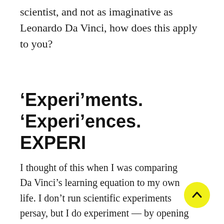scientist, and not as imaginative as Leonardo Da Vinci, how does this apply to you?
‘Experi’ments. ‘Experi’ences. EXPERI
I thought of this when I was comparing Da Vinci’s learning equation to my own life. I don’t run scientific experiments persay, but I do experiment — by opening Doors and investing in the right experiences